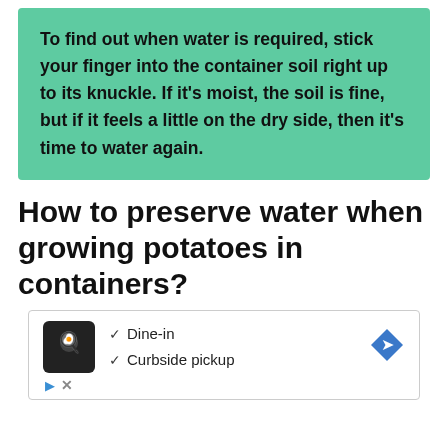To find out when water is required, stick your finger into the container soil right up to its knuckle. If it's moist, the soil is fine, but if it feels a little on the dry side, then it's time to water again.
How to preserve water when growing potatoes in containers?
[Figure (other): Advertisement box showing a restaurant logo, checkmarks for Dine-in and Curbside pickup options, a blue diamond arrow icon, and ad control buttons.]